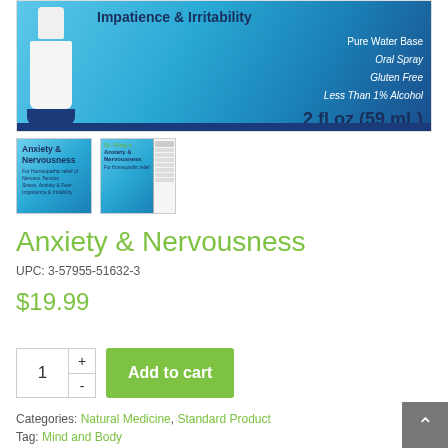[Figure (photo): Product image of Anxiety & Nervousness oral spray bottle on blue gradient background. Text shows 'Impatience & Irritability', 'Pure Water Base', 'Oral Spray', 'Gluten Free', 'Less Than 1% Alcohol', '2 fl oz (59 mL)']
[Figure (photo): Thumbnail 1: Close-up of product label showing 'Anxiety & Nervousness' text on blue background]
[Figure (photo): Thumbnail 2: Full product box showing Dr Kings brand, Anxiety & Nervousness, with nutrition facts panel]
Anxiety & Nervousness
UPC: 3-57955-51632-3
$19.99
1 + - Add to cart
Categories: Natural Medicine, Standard Product
Tag: Mind and Body